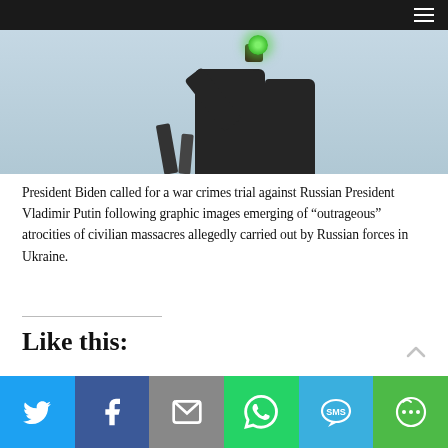[Figure (photo): Hero image showing a person in a dark suit raising their arm, with a green light or orb visible, against a light blue background. Dark navigation bar with hamburger menu at top.]
President Biden called for a war crimes trial against Russian President Vladimir Putin following graphic images emerging of “outrageous” atrocities of civilian massacres allegedly carried out by Russian forces in Ukraine.
Like this:
[Figure (infographic): Social sharing bar with six buttons: Twitter (light blue), Facebook (dark blue), Email (grey), WhatsApp (green), SMS (blue), and More (green).]